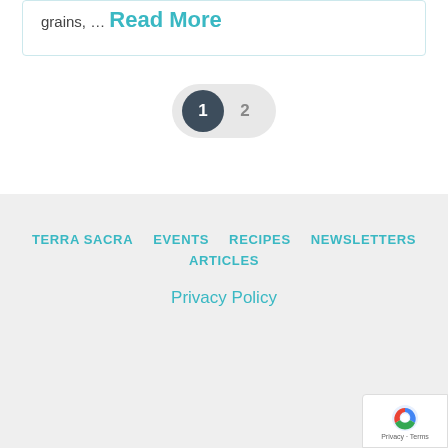grains, … Read More
1  2
TERRA SACRA   EVENTS   RECIPES   NEWSLETTERS   ARTICLES
Privacy Policy